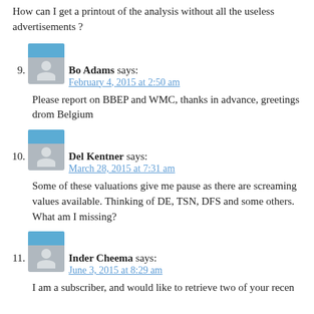How can I get a printout of the analysis without all the useless advertisements ?
9. Bo Adams says:
February 4, 2015 at 2:50 am

Please report on BBEP and WMC, thanks in advance, greetings drom Belgium
10. Del Kentner says:
March 28, 2015 at 7:31 am

Some of these valuations give me pause as there are screaming values available. Thinking of DE, TSN, DFS and some others. What am I missing?
11. Inder Cheema says:
June 3, 2015 at 8:29 am

I am a subscriber, and would like to retrieve two of your recen...